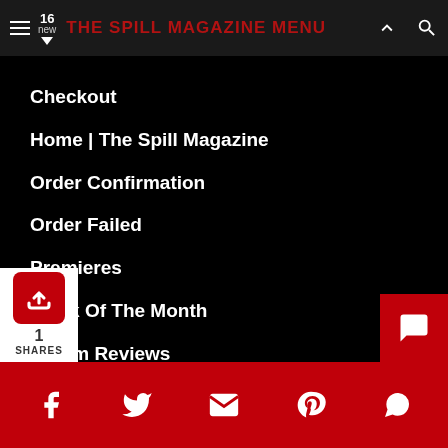16 new | THE SPILL MAGAZINE MENU
Checkout
Home | The Spill Magazine
Order Confirmation
Order Failed
Premieres
Track Of The Month
Album Reviews
Books + Movies
Features
Live Reviews
Festivals
Portraits
1 SHARES | Social share icons: Facebook, Twitter, Email, Pinterest, WhatsApp